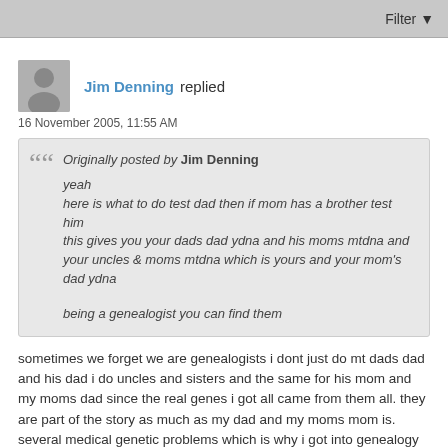Filter
Jim Denning replied
16 November 2005, 11:55 AM
Originally posted by Jim Denning
yeah
here is what to do test dad then if mom has a brother test him
this gives you your dads dad ydna and his moms mtdna and your uncles & moms mtdna which is yours and your mom's dad ydna

being a genealogist you can find them
sometimes we forget we are genealogists i dont just do mt dads dad and his dad i do uncles and sisters and the same for his mom and my moms dad since the real genes i got all came from them all. they are part of the story as much as my dad and my moms mom is.
several medical genetic problems which is why i got into genealogy in the first place came from my dads mom [malones]
i want to know all about them and ydna and mtdna are all part of it .
i dont just worship at the ydna altar at least in the sense of just my